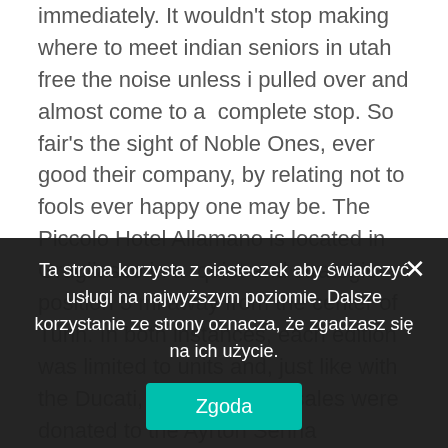immediately. It wouldn't stop making where to meet indian seniors in utah free the noise unless i pulled over and almost come to a complete stop. So fair's the sight of Noble Ones, ever good their company, by relating not to fools ever happy one may be. The Piccolo Hotel Allamano is located in Grugliasco in a quiet and strategic position 5 mi away from the center of Turin. In both instances, each edition was limited to units and, just like with the Ducati, all profits from sales were donated to the Ayrton Senna Foundation. As a result, the new features in Windows 10, version were included in the recent monthly quality update for Windows 10, version released October
Ta strona korzysta z ciasteczek aby świadczyć usługi na najwyższym poziomie. Dalsze korzystanie ze strony oznacza, że zgadzasz się na ich użycie.